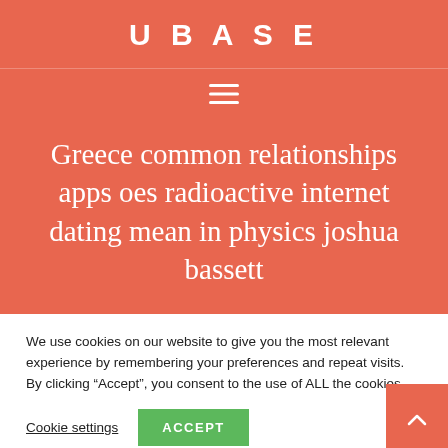UBASE
[Figure (other): Hamburger menu icon (three horizontal lines)]
Greece common relationships apps oes radioactive internet dating mean in physics joshua bassett
We use cookies on our website to give you the most relevant experience by remembering your preferences and repeat visits. By clicking “Accept”, you consent to the use of ALL the cookies.
Cookie settings | ACCEPT